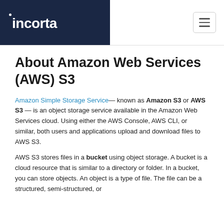incorta
About Amazon Web Services (AWS) S3
Amazon Simple Storage Service— known as Amazon S3 or AWS S3 — is an object storage service available in the Amazon Web Services cloud. Using either the AWS Console, AWS CLI, or similar, both users and applications upload and download files to AWS S3.
AWS S3 stores files in a bucket using object storage. A bucket is a cloud resource that is similar to a directory or folder. In a bucket, you can store objects. An object is a type of file. The file can be a structured, semi-structured, or